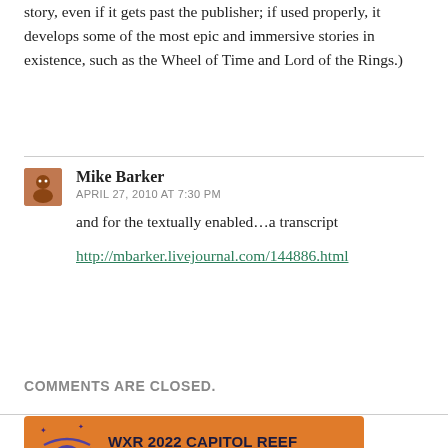story, even if it gets past the publisher; if used properly, it develops some of the most epic and immersive stories in existence, such as the Wheel of Time and Lord of the Rings.)
Mike Barker
APRIL 27, 2010 AT 7:30 PM
and for the textually enabled…a transcript
http://mbarker.livejournal.com/144886.html
COMMENTS ARE CLOSED.
[Figure (infographic): Orange banner advertisement for WXR 2022 Capitol Reef, June 27 to July 2, with a planet/orbit logo and Register Now button]